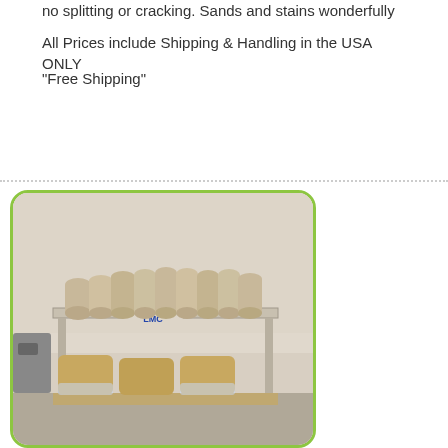no splitting or cracking. Sands and stains wonderfully
All Prices include Shipping & Handling in the USA ONLY
“Free Shipping”
Add to cart
[Figure (photo): Warehouse shelf holding multiple rolled fabric or clay forms standing upright, with large bagged materials on a pallet below. An LMC-branded metal rack is visible in the center.]